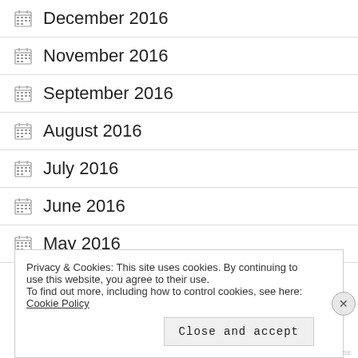December 2016
November 2016
September 2016
August 2016
July 2016
June 2016
May 2016
Privacy & Cookies: This site uses cookies. By continuing to use this website, you agree to their use. To find out more, including how to control cookies, see here: Cookie Policy
Close and accept